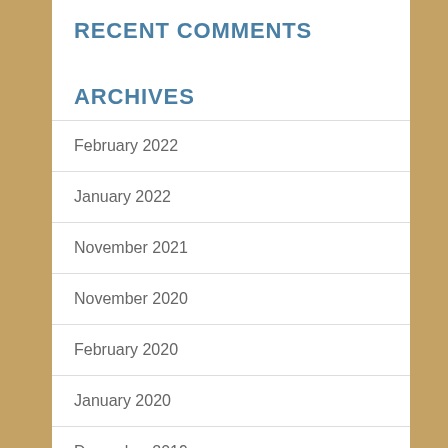RECENT COMMENTS
ARCHIVES
February 2022
January 2022
November 2021
November 2020
February 2020
January 2020
December 2019